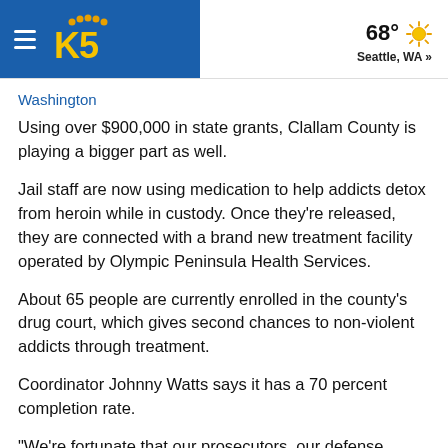KING5 | 68° Seattle, WA »
Washington
Using over $900,000 in state grants, Clallam County is playing a bigger part as well.
Jail staff are now using medication to help addicts detox from heroin while in custody. Once they're released, they are connected with a brand new treatment facility operated by Olympic Peninsula Health Services.
About 65 people are currently enrolled in the county's drug court, which gives second chances to non-violent addicts through treatment.
Coordinator Johnny Watts says it has a 70 percent completion rate.
"We're fortunate that our prosecutors, our defense counsel, and our judges are informed enough about addiction that they have an open mind to a therapeutic process as